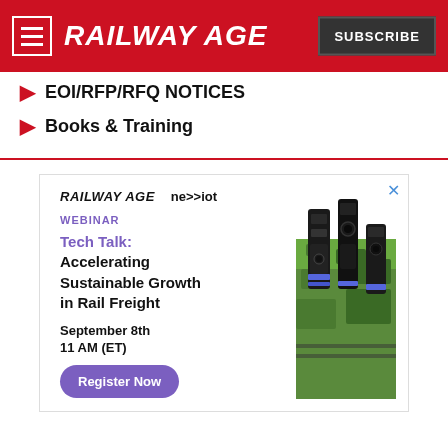RAILWAY AGE | SUBSCRIBE
EOI/RFP/RFQ NOTICES
Books & Training
[Figure (infographic): Advertisement for Railway Age and Nexxiot webinar: Tech Talk: Accelerating Sustainable Growth in Rail Freight. September 8th, 11 AM (ET). Register Now button. Image of rail freight equipment on green grass.]